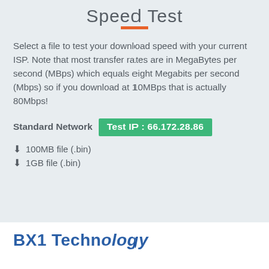Speed Test
Select a file to test your download speed with your current ISP. Note that most transfer rates are in MegaBytes per second (MBps) which equals eight Megabits per second (Mbps) so if you download at 10MBps that is actually 80Mbps!
Standard Network  Test IP : 66.172.28.86
100MB file (.bin)
1GB file (.bin)
BX1 Technology